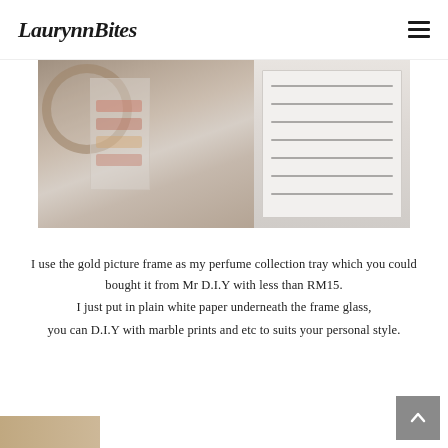LaurynnBites
[Figure (photo): Photo of a dressing table setup with an acrylic makeup organizer with drawers containing cosmetics and lipsticks on the left, and a white chest of drawers on the right, with a round mirror partially visible.]
I use the gold picture frame as my perfume collection tray which you could bought it from Mr D.I.Y with less than RM15.
I just put in plain white paper underneath the frame glass,
you can D.I.Y with marble prints and etc to suits your personal style.